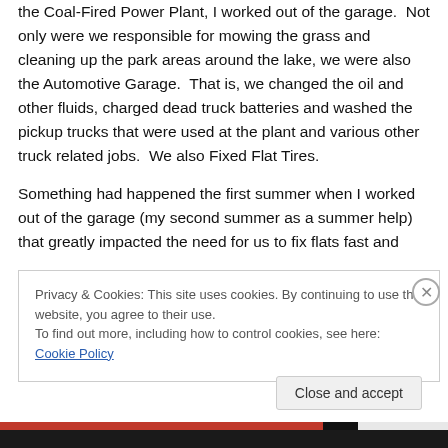the Coal-Fired Power Plant, I worked out of the garage. Not only were we responsible for mowing the grass and cleaning up the park areas around the lake, we were also the Automotive Garage. That is, we changed the oil and other fluids, charged dead truck batteries and washed the pickup trucks that were used at the plant and various other truck related jobs. We also Fixed Flat Tires.
Something had happened the first summer when I worked out of the garage (my second summer as a summer help) that greatly impacted the need for us to fix flats fast and
Privacy & Cookies: This site uses cookies. By continuing to use this website, you agree to their use. To find out more, including how to control cookies, see here: Cookie Policy
Close and accept